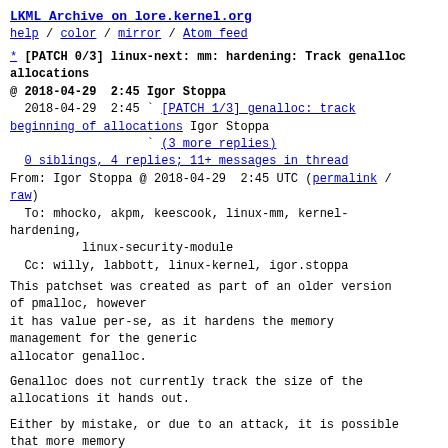LKML Archive on lore.kernel.org
help / color / mirror / Atom feed
* [PATCH 0/3] linux-next: mm: hardening: Track genalloc allocations
@ 2018-04-29  2:45 Igor Stoppa
  2018-04-29  2:45 ` [PATCH 1/3] genalloc: track beginning of allocations Igor Stoppa
                   ` (3 more replies)
  0 siblings, 4 replies; 11+ messages in thread
From: Igor Stoppa @ 2018-04-29  2:45 UTC (permalink / raw)
  To: mhocko, akpm, keescook, linux-mm, kernel-hardening,
          linux-security-module
  Cc: willy, labbott, linux-kernel, igor.stoppa
This patchset was created as part of an older version of pmalloc, however
it has value per-se, as it hardens the memory management for the generic
allocator genalloc.
Genalloc does not currently track the size of the allocations it hands out.
Either by mistake, or due to an attack, it is possible that more memory
than what was initially allocated is freed, leaving behind dangling.